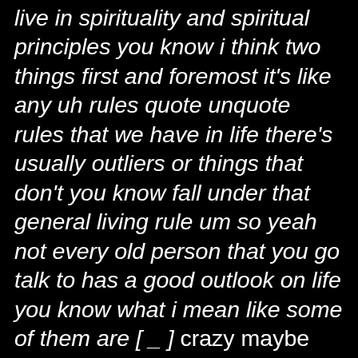live in spirituality and spiritual principles you know i think two things first and foremost it's like any uh rules quote unquote rules that we have in life there's usually outliers or things that don't you know fall under that general living rule um so yeah not every old person that you go talk to has a good outlook on life you know what i mean like some of them are [ _ ] crazy maybe they've mentally deteriorated or whatever whatever you know every older person that you talk to isn't necessarily have a great opinion but in general when you talk to people that are 60 70 80 years old their life experience means something i would say similar to recovery if i talk to 20 people that have 20 plus years or more 15 of those are probably going to have some really valuable